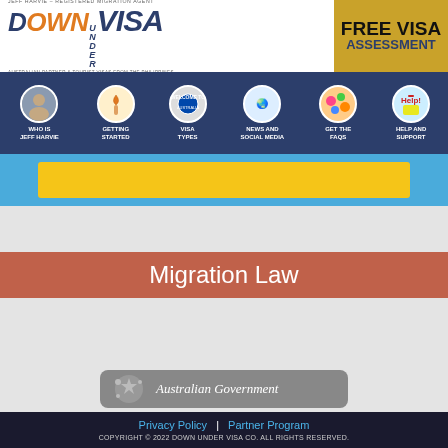[Figure (logo): Down Under Visa logo with tagline 'Jeff Harvie – Registered Migration Agent' and 'Australian Partner & Tourist Visas from the Philippines']
[Figure (infographic): Free Visa Assessment yellow box]
[Figure (infographic): Navigation bar with icons: Who is Jeff Harvie, Getting Started, Visa Types, News and Social Media, Get the FAQs, Help and Support]
[Figure (infographic): Blue banner with yellow content area]
Migration Law
[Figure (infographic): Australian Government logo box (grey rounded rectangle)]
Privacy Policy | Partner Program
COPYRIGHT © 2022 DOWN UNDER VISA CO. ALL RIGHTS RESERVED.